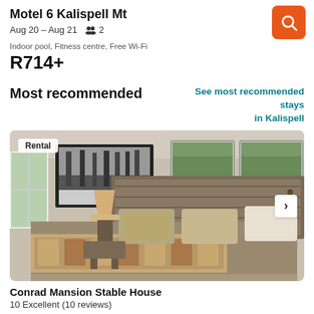Motel 6 Kalispell Mt
Aug 20 – Aug 21   👥 2
Indoor pool, Fitness centre, Free Wi-Fi
R714+
Most recommended
See most recommended stays in Kalispell
[Figure (photo): Photo of a bedroom interior with a rustic wooden headboard, patterned bedspread, lamp on nightstand, and a black-framed winter landscape painting on the wall. A 'Rental' badge is shown in the top-left corner of the image and a right arrow navigation button on the right side.]
Conrad Mansion Stable House
10 Excellent (10 reviews)